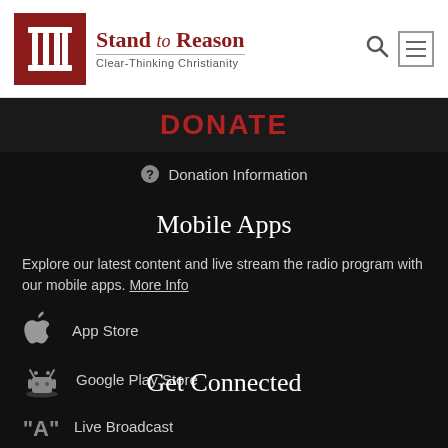Stand to Reason — Clear-Thinking Christianity
Donate
Donation Information
Mobile Apps
Explore our latest content and live stream the radio program with our mobile apps. More Info
App Store
Google Play Store
Get Connected
Live Broadcast